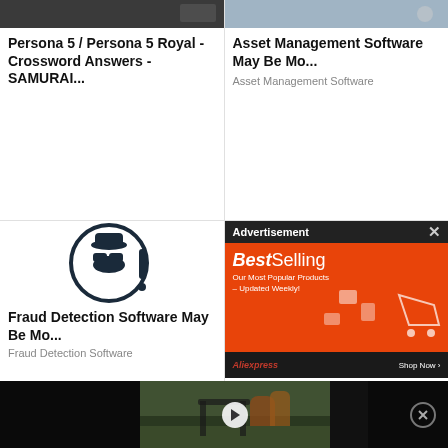[Figure (screenshot): Top-left card image - dark game screenshot]
Persona 5 / Persona 5 Royal - Crossword Answers - SAMURAI...
[Figure (screenshot): Top-right card image - desk/office screenshot]
Asset Management Software May Be Mo...
Asset Management Software
[Figure (illustration): Fraud detection icon - detective with magnifying glass in circle with exclamation mark]
Fraud Detection Software May Be Mo...
Fraud Detection Software
[Figure (screenshot): Partially visible right card - anime girl face]
[Figure (screenshot): Advertisement overlay - BestSelling AliExpress orange banner]
[Figure (screenshot): Video player bar at bottom with play button and close button]